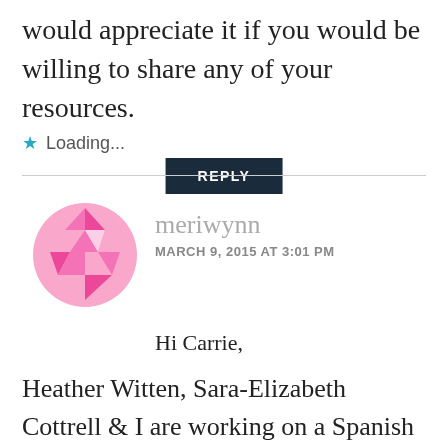would appreciate it if you would be willing to share any of your resources.
Loading...
REPLY
meriwynn
MARCH 9, 2015 AT 3:01 PM
Hi Carrie,
Heather Witten, Sara-Elizabeth Cottrell & I are working on a Spanish 1 curriculum for VIF International Education that builds proficiency while